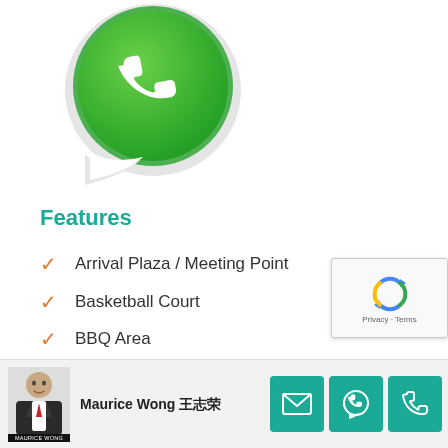[Figure (logo): WhatsApp logo — green circle with white phone handset icon on speech bubble]
Features
Arrival Plaza / Meeting Point
Basketball Court
BBQ Area
Changing Room
Children Playground
[Figure (other): Google reCAPTCHA widget with arrows icon and Privacy/Terms links]
Maurice Wong 王志荣
[Figure (photo): Agent photo: Maurice Wong in suit]
[Figure (other): Email contact button (teal)]
[Figure (other): WhatsApp contact button (teal)]
[Figure (other): Phone contact button (teal)]